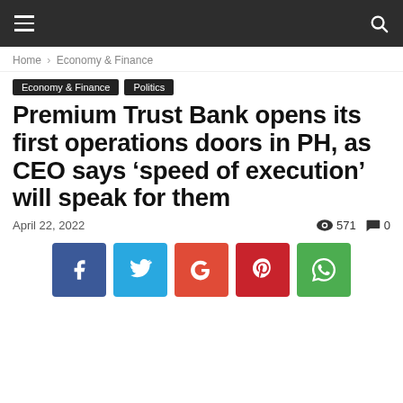≡  🔍
Home › Economy & Finance
Economy & Finance   Politics
Premium Trust Bank opens its first operations doors in PH, as CEO says 'speed of execution' will speak for them
April 22, 2022   571   0
[Figure (infographic): Social share buttons: Facebook, Twitter, Google+, Pinterest, WhatsApp]